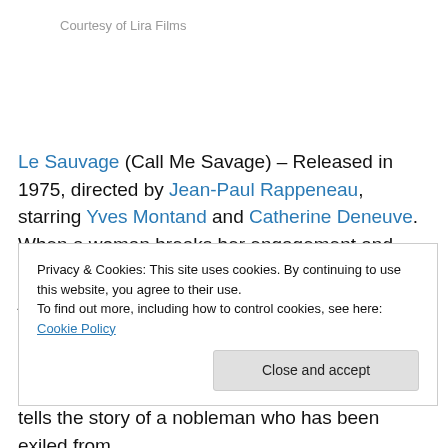Courtesy of Lira Films
Le Sauvage (Call Me Savage) – Released in 1975, directed by Jean-Paul Rappeneau, starring Yves Montand and Catherine Deneuve.  When a woman breaks her engagement and runs away to Caracas, she is pursued by her jilted fiancé.  She looks to a French middle-aged man she met by accident for help
Privacy & Cookies: This site uses cookies. By continuing to use this website, you agree to their use.
To find out more, including how to control cookies, see here: Cookie Policy
tells the story of a nobleman who has been exiled from